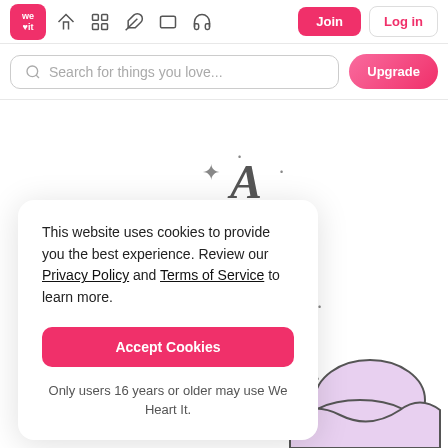we♥it — Navigation bar with logo, home, grid, feather, rectangle, headphone icons, Join and Log in buttons
Search for things you love...
Upgrade
This website uses cookies to provide you the best experience. Review our Privacy Policy and Terms of Service to learn more.
Accept Cookies
Only users 16 years or older may use We Heart It.